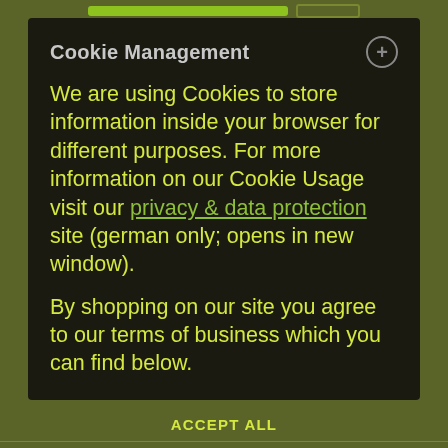Cookie Management
We are using Cookies to store information inside your browser for different purposes. For more information on our Cookie Usage visit our privacy & data protection site (german only; opens in new window).
By shopping on our site you agree to our terms of business which you can find below.
DENY ALL
ACCEPT CURRENT SELECTION
ACCEPT ALL